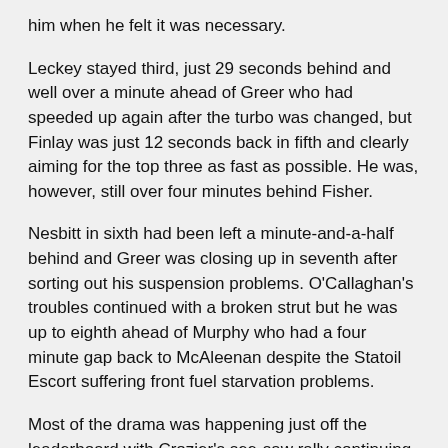him when he felt it was necessary.
Leckey stayed third, just 29 seconds behind and well over a minute ahead of Greer who had speeded up again after the turbo was changed, but Finlay was just 12 seconds back in fifth and clearly aiming for the top three as fast as possible. He was, however, still over four minutes behind Fisher.
Nesbitt in sixth had been left a minute-and-a-half behind and Greer was closing up in seventh after sorting out his suspension problems. O'Callaghan's troubles continued with a broken strut but he was up to eighth ahead of Murphy who had a four minute gap back to McAleenan despite the Statoil Escort suffering front fuel starvation problems.
Most of the drama was happening just off the leaderboard with Crozier's see-saw rally continuing. He had almost made the top 10 again until a broken throttle cable stopped him for five minutes in stage 15 and Jordan was slowed with a broken water pump belt. Arthurs had another massive spin but held on to the class lead ahead of Maguire and sandwiched between them was two-litre leader Dott...